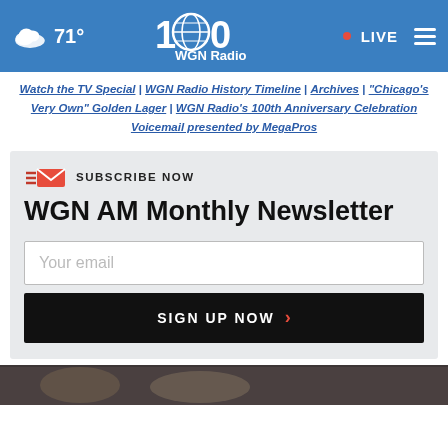71° WGN Radio LIVE
Watch the TV Special | WGN Radio History Timeline | Archives | "Chicago's Very Own" Golden Lager | WGN Radio's 100th Anniversary Celebration Voicemail presented by MegaPros
WGN AM Monthly Newsletter
SUBSCRIBE NOW
Your email
SIGN UP NOW